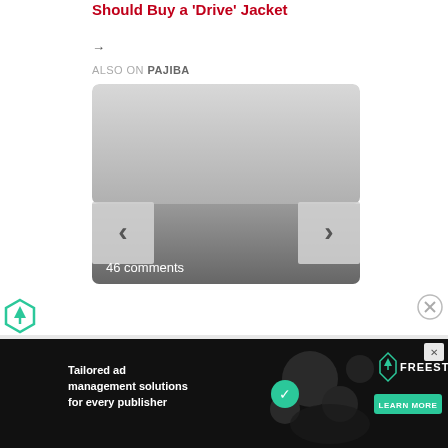Should Buy a 'Drive' Jacket
→
ALSO ON PAJIBA
[Figure (screenshot): A carousel widget showing a content recommendation with navigation arrows (‹ and ›) and a label reading '46 comments' over a gray gradient background.]
[Figure (logo): Freestar logo icon (teal/green triangular badge icon)]
[Figure (screenshot): Advertisement banner: 'Tailored ad management solutions for every publisher' with Freestar branding and 'LEARN MORE' button on dark background. Close button (X) in top right.]